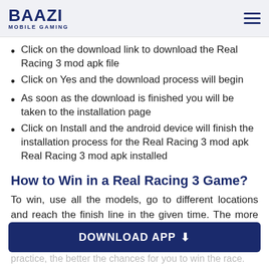BAAZI MOBILE GAMING
Click on the download link to download the Real Racing 3 mod apk file
Click on Yes and the download process will begin
As soon as the download is finished you will be taken to the installation page
Click on Install and the android device will finish the installation process for the Real Racing 3 mod apk Real Racing 3 mod apk installed
How to Win in a Real Racing 3 Game?
To win, use all the models, go to different locations and reach the finish line in the given time. The more you practice, the better the chances for you to win the race. So, focus on practice...
DOWNLOAD APP ⬇